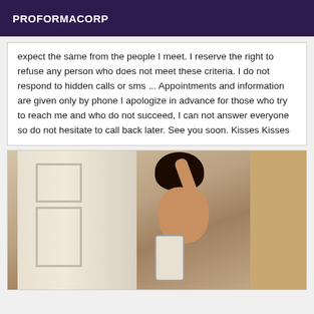PROFORMACORP
expect the same from the people I meet. I reserve the right to refuse any person who does not meet these criteria. I do not respond to hidden calls or sms ... Appointments and information are given only by phone I apologize in advance for those who try to reach me and who do not succeed, I can not answer everyone so do not hesitate to call back later. See you soon. Kisses Kisses
[Figure (photo): A person taking a selfie in a mirror, with hair up in a bun, holding a smartphone, standing near a door with white panels.]